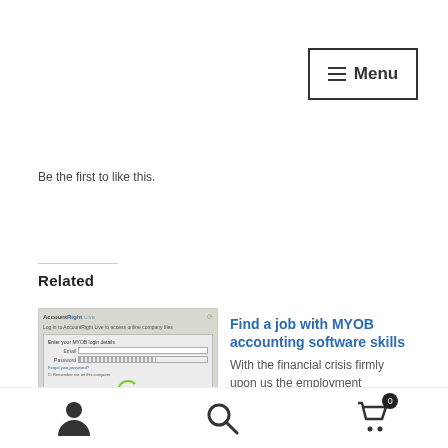Menu
Be the first to like this.
Related
[Figure (screenshot): Screenshot of AccountRight Live login dialog screen]
Learn MYOB and Microsoft Excel, get help finding work with Career Academy
January 19, 2016
In "Bookkeeper and
Find a job with MYOB accounting software skills
With the financial crisis firmly upon us the employment landscape has changed significantly. The sad reality that we can
March 3, 2009
In "Computer Software Training"
User | Search | Cart 0